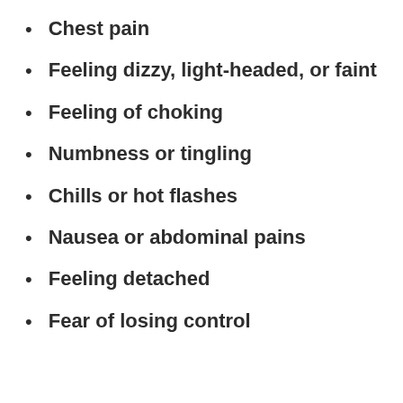Chest pain
Feeling dizzy, light-headed, or faint
Feeling of choking
Numbness or tingling
Chills or hot flashes
Nausea or abdominal pains
Feeling detached
Fear of losing control